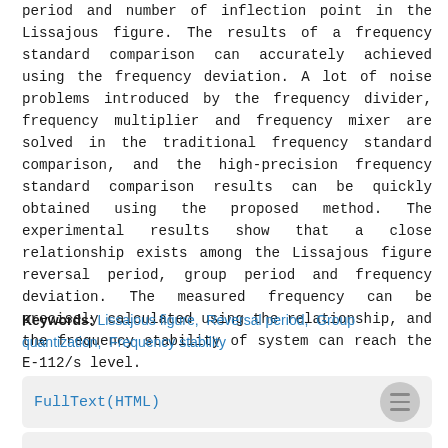period and number of inflection point in the Lissajous figure. The results of a frequency standard comparison can accurately achieved using the frequency deviation. A lot of noise problems introduced by the frequency divider, frequency multiplier and frequency mixer are solved in the traditional frequency standard comparison, and the high-precision frequency standard comparison results can be quickly obtained using the proposed method. The experimental results show that a close relationship exists among the Lissajous figure reversal period, group period and frequency deviation. The measured frequency can be precisely calculated using the relationship, and the frequency stability of system can reach the E-112/s level.
Keywords: Lissajous figure, Reversal period, Group quantization, Frequency stability
FullText(HTML)